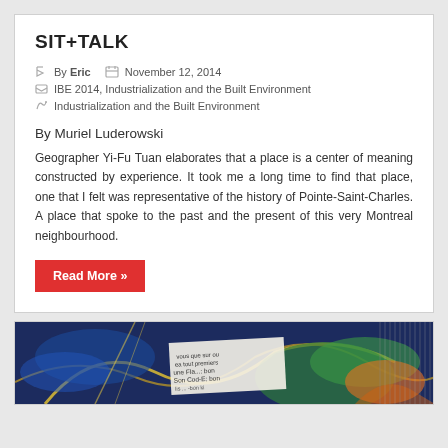SIT+TALK
By Eric   November 12, 2014
IBE 2014, Industrialization and the Built Environment
Industrialization and the Built Environment
By Muriel Luderowski
Geographer Yi-Fu Tuan elaborates that a place is a center of meaning constructed by experience. It took me a long time to find that place, one that I felt was representative of the history of Pointe-Saint-Charles. A place that spoke to the past and the present of this very Montreal neighbourhood.
Read More »
[Figure (photo): Colorful mural artwork with text fragments visible, dark background with bright colors including blue, green, yellow, and orange elements. Text fragments in French visible on paper/label overlay.]